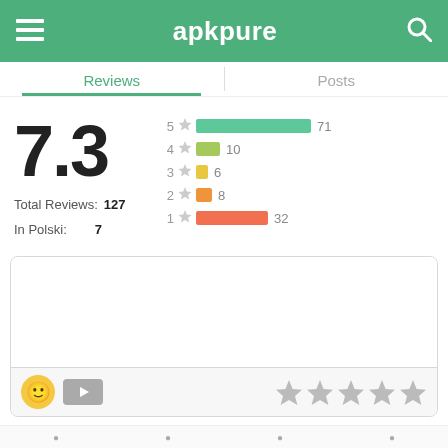apkpure
Reviews | Posts
[Figure (bar-chart): Rating breakdown]
7.3
Total Reviews: 127
In Polski: 7
Post ▶